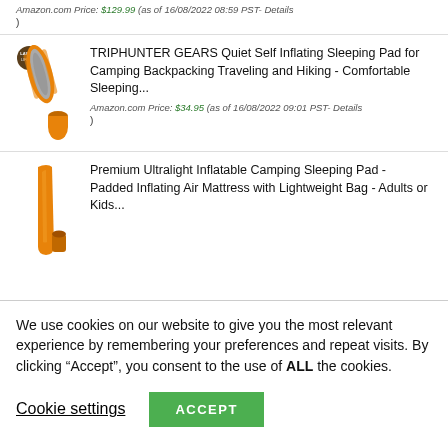Amazon.com Price: $129.99 (as of 16/08/2022 08:59 PST- Details
)
[Figure (photo): TRIPHUNTER GEARS sleeping pad product image - orange self-inflating sleeping pad with carrying case]
TRIPHUNTER GEARS Quiet Self Inflating Sleeping Pad for Camping Backpacking Traveling and Hiking - Comfortable Sleeping...
Amazon.com Price: $34.95 (as of 16/08/2022 09:01 PST- Details
)
[Figure (photo): Premium Ultralight Inflatable Camping Sleeping Pad product image - orange inflatable sleeping pad]
Premium Ultralight Inflatable Camping Sleeping Pad - Padded Inflating Air Mattress with Lightweight Bag - Adults or Kids...
We use cookies on our website to give you the most relevant experience by remembering your preferences and repeat visits. By clicking “Accept”, you consent to the use of ALL the cookies.
Cookie settings
ACCEPT